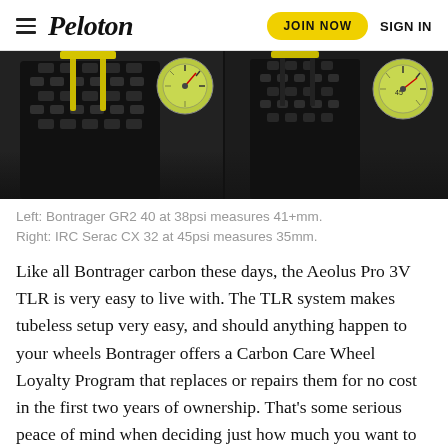Peloton | JOIN NOW | SIGN IN
[Figure (photo): Two side-by-side close-up photos of bicycle tires being measured with calipers. Left photo shows a knobby Bontrager GR2 40 tire with yellow caliper tool. Right photo shows a narrower IRC Serac CX 32 tire also being measured with a caliper.]
Left: Bontrager GR2 40 at 38psi measures 41+mm. Right: IRC Serac CX 32 at 45psi measures 35mm.
Like all Bontrager carbon these days, the Aeolus Pro 3V TLR is very easy to live with. The TLR system makes tubeless setup very easy, and should anything happen to your wheels Bontrager offers a Carbon Care Wheel Loyalty Program that replaces or repairs them for no cost in the first two years of ownership. That’s some serious peace of mind when deciding just how much you want to stay with lead group as they rocket